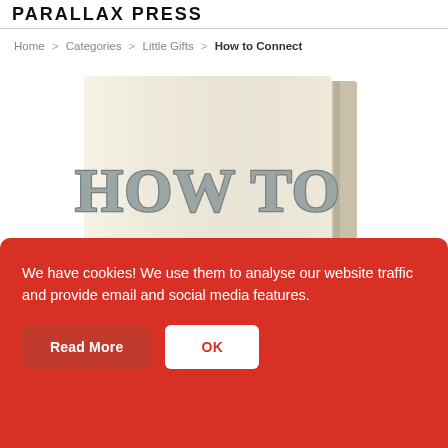PARALLAX PRESS
Home > Categories > Little Gifts > How to Connect
[Figure (photo): Book cover of 'How to Connect' showing large grey text 'HOW TO' and teal text 'CONNECT' on a cream background, with decorative illustrations partially visible at the bottom. The book is displayed at a slight angle showing the spine.]
We have cookies! We use them to analyse our website traffic and provide email and social media features.
Read More
OK